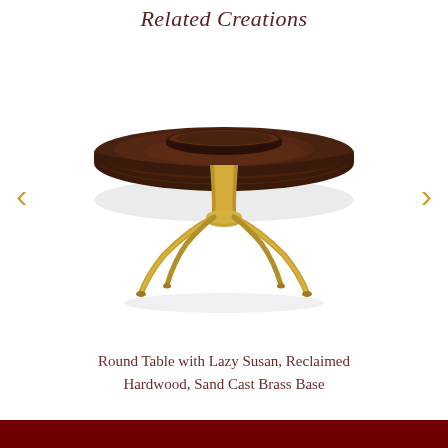Related Creations
[Figure (photo): A round dining table with a lazy susan on top, made of reclaimed hardwood with a sand cast brass spider-leg base.]
Round Table with Lazy Susan, Reclaimed Hardwood, Sand Cast Brass Base